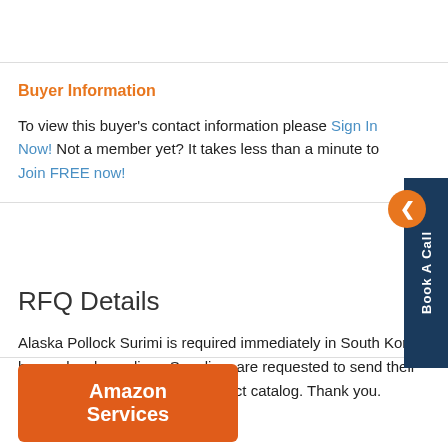Buyer Information
To view this buyer's contact information please Sign In Now! Not a member yet? It takes less than a minute to Join FREE now!
RFQ Details
Alaska Pollock Surimi is required immediately in South Korea by any local suppliers. Suppliers are requested to send their quotations along with their product catalog. Thank you.
Amazon Services